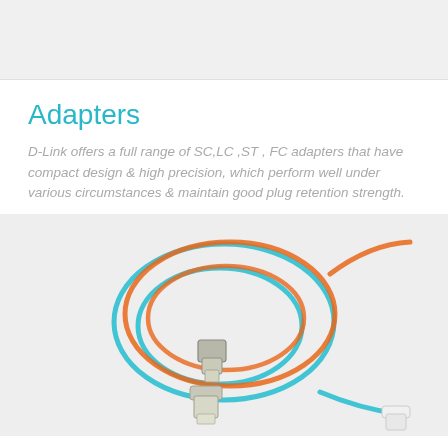[Figure (photo): Top gray banner area]
Adapters
D-Link offers a full range of SC,LC ,ST , FC adapters that have compact design & high precision, which perform well under various circumstances & maintain good plug retention strength.
[Figure (photo): Photo of fiber optic patch cables coiled together — one orange cable and one teal/cyan cable with LC connectors at each end, shown on a light gray background.]